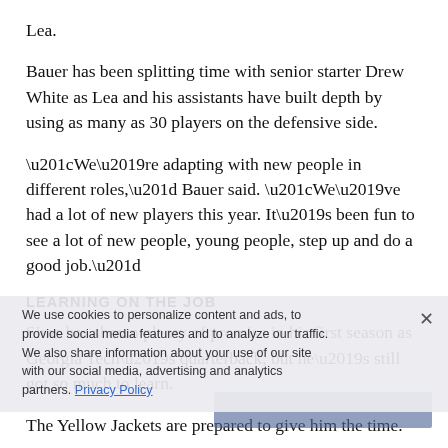Lea.
Bauer has been splitting time with senior starter Drew White as Lea and his assistants have built depth by using as many as 30 players on the defensive side.
“We’re adapting with new people in different roles,” Bauer said. “We’ve had a lot of new players this year. It’s been fun to see a lot of new people, young people, step up and do a good job.”
LEARNING ON THE JOB
Sims has shown plenty of promise in his first season as Georgia Tech’s quarterback, but he’s still got so much to learn.
The Yellow Jackets are prepared to give him the time.
Even though the freshman has already tossed 10 interceptions — and was replaced in the third quarter